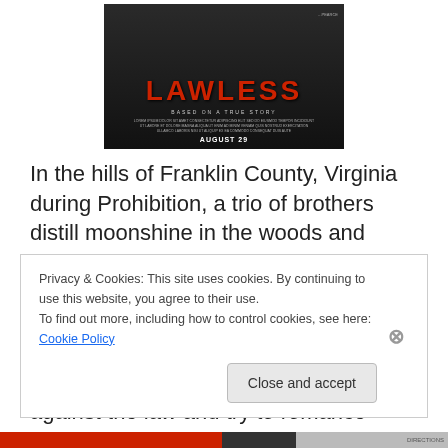[Figure (photo): Movie poster for 'Lawless' with dark background, red title text, subtitle 'Based on a True Story', and 'August 29' release date]
In the hills of Franklin County, Virginia during Prohibition, a trio of brothers distill moonshine in the woods and smuggle it into the big city and sell it to organized crime. When a new special deputy is appointed for the area, things begin to get heated. Violence and drama ensue as the brothers struggle against the law and try to romance
Privacy & Cookies: This site uses cookies. By continuing to use this website, you agree to their use.
To find out more, including how to control cookies, see here: Cookie Policy
Close and accept